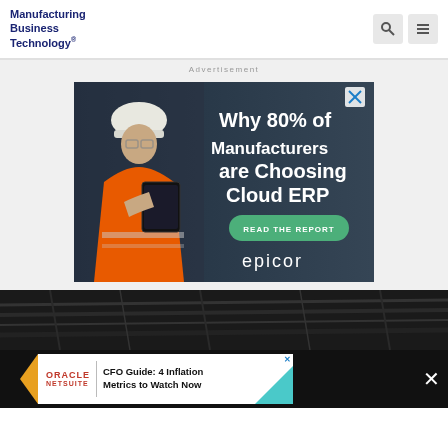Manufacturing Business Technology
[Figure (screenshot): Epicor advertisement banner showing a woman in orange safety jacket and hard hat holding a tablet, with text 'Why 80% of Manufacturers are Choosing Cloud ERP' and a green 'READ THE REPORT' button, Epicor logo at bottom right]
[Figure (screenshot): Bottom of page showing industrial machinery background image and an Oracle NetSuite advertisement banner reading 'CFO Guide: 4 Inflation Metrics to Watch Now' with a teal geometric shape and X close buttons]